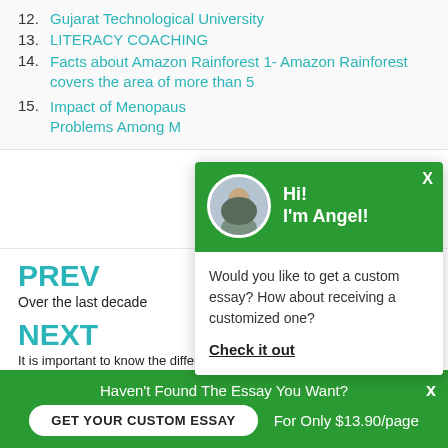12. Gujarat Technological University
13. LITERACY COACHING
14. Facts about Amazon Rainforest 1- Amazon Rainforest covers the area of more than 5
15. Impact of Menopause Symptoms on Psychological Problems Among M...
PREV
Over the last decade
NEXT
It is important to know the difference between the
[Figure (other): Chat popup with green header showing avatar of Angel and greeting 'Hi! I'm Angel!' with body text 'Would you like to get a custom essay? How about receiving a customized one?' and 'Check it out' link]
Haven't Found The Essay You Want?
GET YOUR CUSTOM ESSAY
For Only $13.90/page